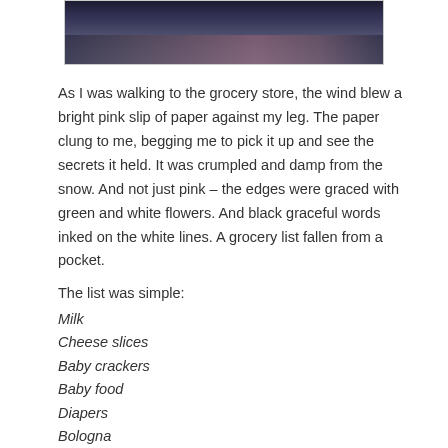[Figure (photo): Partial view of a dark landscape photo, showing mountains or hills against a dark sky with snow/clouds.]
As I was walking to the grocery store, the wind blew a bright pink slip of paper against my leg. The paper clung to me, begging me to pick it up and see the secrets it held. It was crumpled and damp from the snow. And not just pink – the edges were graced with green and white flowers. And black graceful words inked on the white lines. A grocery list fallen from a pocket.
The list was simple:
Milk
Cheese slices
Baby crackers
Baby food
Diapers
Bologna
Bread
Tomato soup